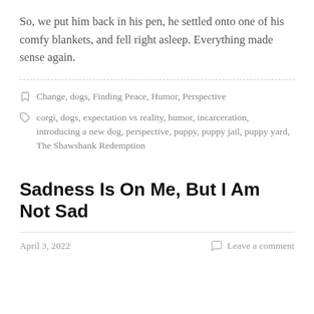So, we put him back in his pen, he settled onto one of his comfy blankets, and fell right asleep. Everything made sense again.
Change, dogs, Finding Peace, Humor, Perspective
corgi, dogs, expectation vs reality, humor, incarceration, introducing a new dog, perspective, puppy, puppy jail, puppy yard, The Shawshank Redemption
Sadness Is On Me, But I Am Not Sad
April 3, 2022
Leave a comment